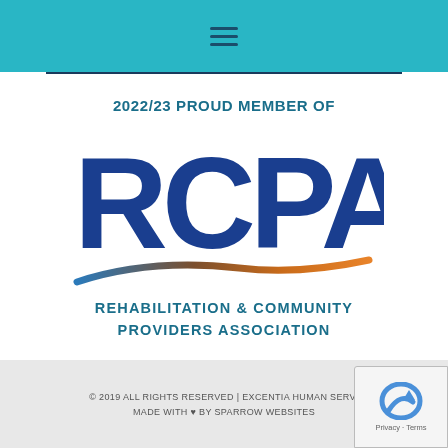[Figure (logo): Teal header bar with hamburger menu icon (three horizontal lines)]
[Figure (logo): RCPA membership badge: '2022/23 PROUD MEMBER OF' above large 'RCPA' letters with orange swoosh, below which reads 'REHABILITATION & COMMUNITY PROVIDERS ASSOCIATION']
© 2019 ALL RIGHTS RESERVED | EXCENTIA HUMAN SERVI... MADE WITH ♥ BY SPARROW WEBSITES